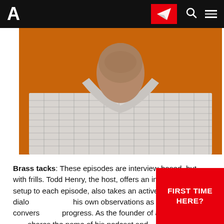A [logo] | [paper-plane icon] | [search icon] | [menu icon]
[Figure (photo): A man wearing a plaid/checkered shirt against an orange background, photographed from the neck/chin down to the chest area.]
Brass tacks: These episodes are interview-based, but with frills. Todd Henry, the host, offers an introductory setup to each episode, also takes an active part in the dialogue and shares his own observations as the conversation progress. As the founder of a company that shares the name of his podcast and
[Figure (infographic): Red button/banner with white text reading 'FIRST TIME HERE?']